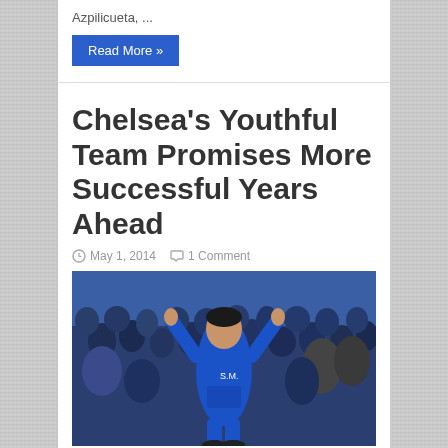Azpilicueta, ...
Read More »
Chelsea's Youthful Team Promises More Successful Years Ahead
May 1, 2014   1 Comment
[Figure (photo): Chelsea footballer in blue jersey with arms raised pointing upward, celebrating, with crowd in background]
Despite the possibility of Chelsea finishing the season empty-handed, this season shouldn't be